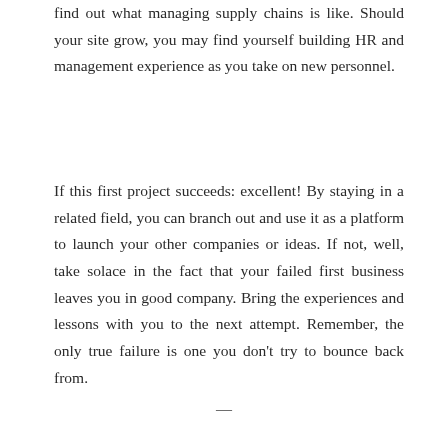find out what managing supply chains is like. Should your site grow, you may find yourself building HR and management experience as you take on new personnel.
If this first project succeeds: excellent! By staying in a related field, you can branch out and use it as a platform to launch your other companies or ideas. If not, well, take solace in the fact that your failed first business leaves you in good company. Bring the experiences and lessons with you to the next attempt. Remember, the only true failure is one you don't try to bounce back from.